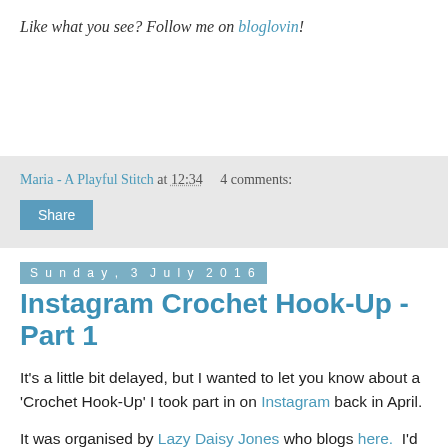Like what you see?  Follow me on bloglovin!
Maria - A Playful Stitch at 12:34    4 comments:
Share
Sunday, 3 July 2016
Instagram Crochet Hook-Up - Part 1
It's a little bit delayed, but I wanted to let you know about a 'Crochet Hook-Up' I took part in on Instagram back in April.
It was organised by Lazy Daisy Jones who blogs here.  I'd not tried anything like this on Instagram before, but I really enjoyed it.  You post a picture a day, following a subject